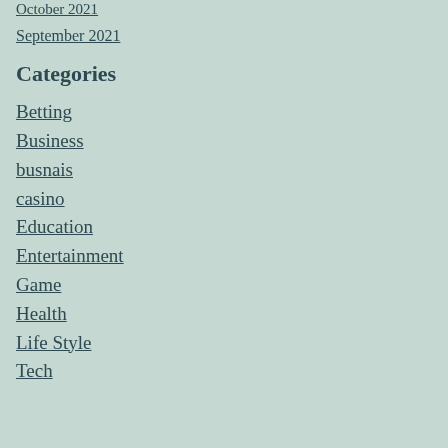October 2021
September 2021
Categories
Betting
Business
busnais
casino
Education
Entertainment
Game
Health
Life Style
Tech